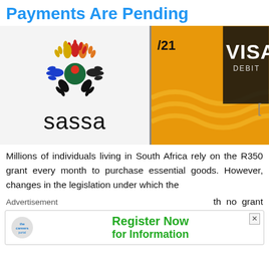Payments Are Pending
[Figure (photo): Photo of a SASSA display stand with the SASSA logo (colorful handprint bird) and the word 'sassa' in black, next to a yellow Visa debit card partially visible on the right side]
Millions of individuals living in South Africa rely on the R350 grant every month to purchase essential goods. However, changes in the legislation under which the
Advertisement
th no grant
[Figure (infographic): Advertisement banner for careersportal with text 'Register Now for Information' in bold green text, with careersportal logo on left and X close button]